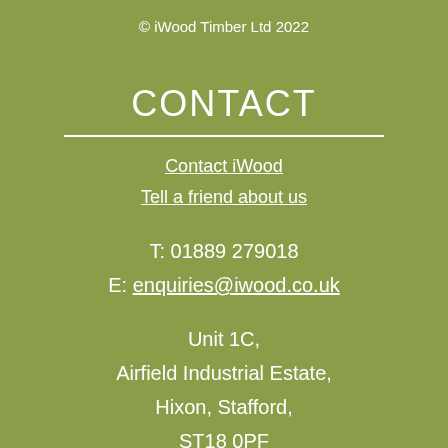© iWood Timber Ltd 2022
CONTACT
Contact iWood
Tell a friend about us
T: 01889 279018
E: enquiries@iwood.co.uk
Unit 1C,
Airfield Industrial Estate,
Hixon, Stafford,
ST18 0PF
g10342785